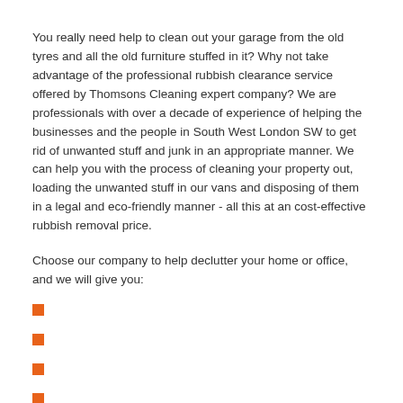You really need help to clean out your garage from the old tyres and all the old furniture stuffed in it? Why not take advantage of the professional rubbish clearance service offered by Thomsons Cleaning expert company? We are professionals with over a decade of experience of helping the businesses and the people in South West London SW to get rid of unwanted stuff and junk in an appropriate manner. We can help you with the process of cleaning your property out, loading the unwanted stuff in our vans and disposing of them in a legal and eco-friendly manner - all this at an cost-effective rubbish removal price.
Choose our company to help declutter your home or office, and we will give you: